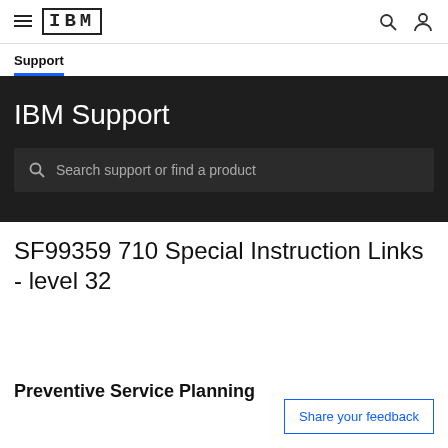IBM Support
Support
IBM Support
Search support or find a product
SF99359 710 Special Instruction Links - level 32
Preventive Service Planning
Share your feedback